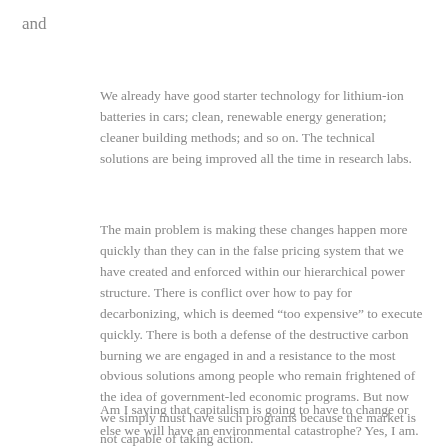and
We already have good starter technology for lithium-ion batteries in cars; clean, renewable energy generation; cleaner building methods; and so on. The technical solutions are being improved all the time in research labs.
The main problem is making these changes happen more quickly than they can in the false pricing system that we have created and enforced within our hierarchical power structure. There is conflict over how to pay for decarbonizing, which is deemed “too expensive” to execute quickly. There is both a defense of the destructive carbon burning we are engaged in and a resistance to the most obvious solutions among people who remain frightened of the idea of government-led economic programs. But now we simply must have such programs because the market is not capable of taking action.
Am I saying that capitalism is going to have to change or else we will have an environmental catastrophe? Yes, I am.